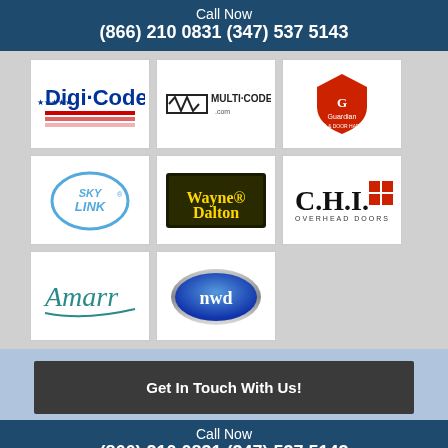Call Now
(866) 210 0831 (347) 537 5143
[Figure (logo): Digi-Code logo with American flag stripes]
[Figure (logo): Multi-Code logo with waveform icon]
[Figure (logo): Guardian Access & Door Hardware logo in red]
[Figure (logo): SkyLink logo in light blue circle]
[Figure (logo): Wayne Dalton logo yellow text on dark background]
[Figure (logo): C.H.I. Overhead Doors logo with red grid]
[Figure (logo): Amarr logo in teal script]
[Figure (logo): NWD logo in blue oval metallic badge]
Get In Touch With Us!
Call Now
(866) 210 0831 (347) 537 5143